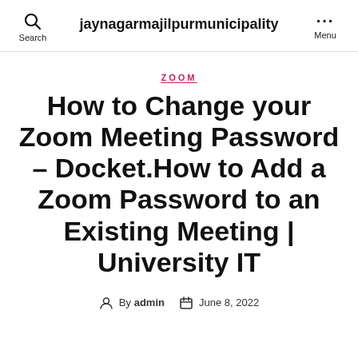jaynagarmajilpurmunicipality
ZOOM
How to Change your Zoom Meeting Password – Docket.How to Add a Zoom Password to an Existing Meeting | University IT
By admin   June 8, 2022